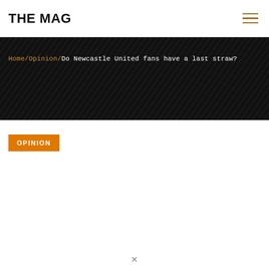THE MAG
Home/Opinion/Do Newcastle United fans have a last straw?
OPINION